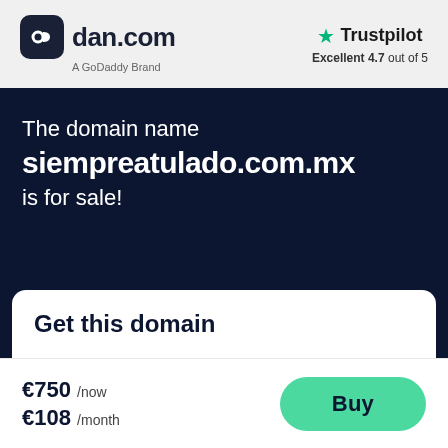[Figure (logo): dan.com logo with dark rounded square icon and text, A GoDaddy Brand tagline]
[Figure (logo): Trustpilot logo with green star, Excellent 4.7 out of 5]
The domain name
siempreatulado.com.mx
is for sale!
Get this domain
€750 /now
€108 /month
Buy